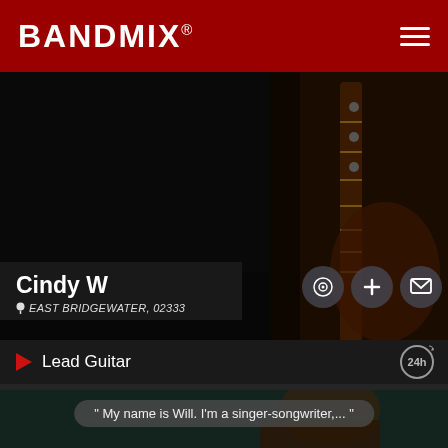BANDMIX®
[Figure (photo): Dark background with a guitar neck visible on the right side, dim music scene photo]
Cindy W
EAST BRIDGEWATER, 02333
Lead Guitar
" My name is Will. I'm a singer-songwriter,... "
[Figure (photo): Person in a brown jacket looking downward, dark teal background, low-light video thumbnail]